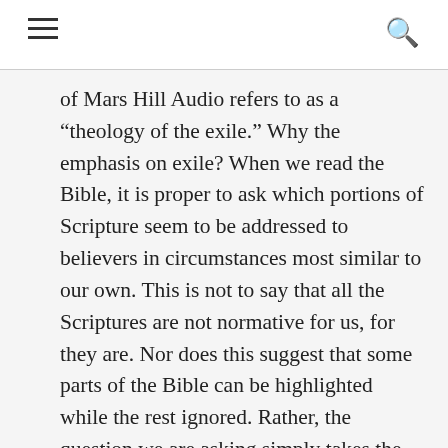[hamburger menu icon] [search icon]
of Mars Hill Audio refers to as a “theology of the exile.” Why the emphasis on exile? When we read the Bible, it is proper to ask which portions of Scripture seem to be addressed to believers in circumstances most similar to our own. This is not to say that all the Scriptures are not normative for us, for they are. Nor does this suggest that some parts of the Bible can be highlighted while the rest ignored. Rather, the question we are asking simply takes the historical and textual context seriously, recognizing that in history God’s people have been called to live